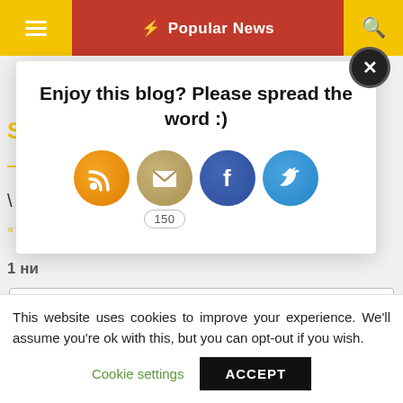[Figure (screenshot): Website navigation bar with hamburger menu on yellow background, Popular News label on red background with lightning bolt icon, and search icon on yellow background, all on black bar]
Enjoy this blog? Please spread the word :)
[Figure (infographic): Four social share icons: RSS (orange circle), Email (beige/gold circle with envelope), Facebook (blue circle with f logo), Twitter (light blue circle with bird logo). Email icon has a badge showing 150.]
Summarize your review or highlight an interesting de
Your review
This website uses cookies to improve your experience. We'll assume you're ok with this, but you can opt-out if you wish.
Cookie settings
ACCEPT